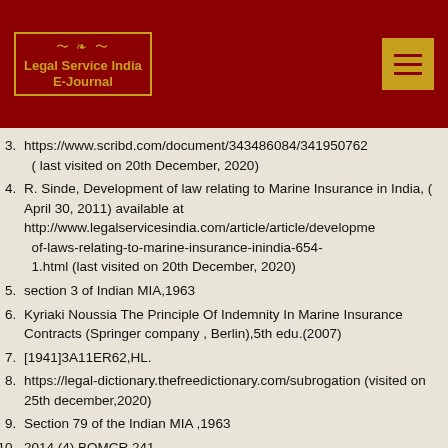[Figure (logo): Legal Service India E-Journal logo on dark red header background with menu button]
3. https://www.scribd.com/document/343486084/341950762 ( last visited on 20th December, 2020)
4. R. Sinde, Development of law relating to Marine Insurance in India, ( April 30, 2011) available at http://www.legalservicesindia.com/article/article/development-of-laws-relating-to-marine-insurance-inindia-654-1.html (last visited on 20th December, 2020)
5. section 3 of Indian MIA,1963
6. Kyriaki Noussia The Principle Of Indemnity In Marine Insurance Contracts (Springer company , Berlin),5th edu.(2007)
7. [1941]3A11ER62,HL.
8. https://legal-dictionary.thefreedictionary.com/subrogation (visited on 25th december,2020)
9. Section 79 of the Indian MIA ,1963
10. 2014 (4) BOMCR 241
11. Section 80 of the Indian MIA,1963
12. What is a Valued Policy? - Definition from